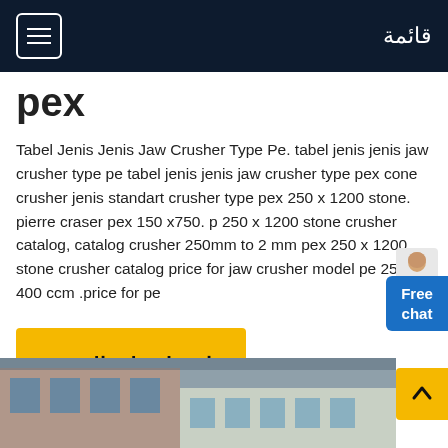قائمة
pex
Tabel Jenis Jenis Jaw Crusher Type Pe. tabel jenis jenis jaw crusher type pe tabel jenis jenis jaw crusher type pex cone crusher jenis standart crusher type pex 250 x 1200 stone. pierre craser pex 150 x750. p 250 x 1200 stone crusher catalog, catalog crusher 250mm to 2 mm pex 250 x 1200 stone crusher catalog price for jaw crusher model pe 250 400 ccm .price for pe
[Figure (other): Free chat button with person illustration overlay]
[Figure (other): Yellow button with Arabic text: احصل على السعر (Get Price)]
[Figure (other): Bottom building/exterior photograph partially visible]
[Figure (other): Yellow scroll-to-top button with upward arrow, bottom right corner]